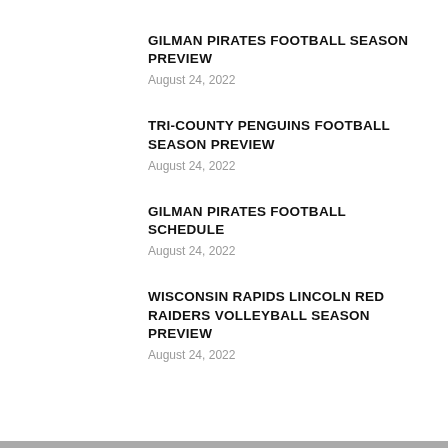GILMAN PIRATES FOOTBALL SEASON PREVIEW
August 24, 2022
TRI-COUNTY PENGUINS FOOTBALL SEASON PREVIEW
August 24, 2022
GILMAN PIRATES FOOTBALL SCHEDULE
August 24, 2022
WISCONSIN RAPIDS LINCOLN RED RAIDERS VOLLEYBALL SEASON PREVIEW
August 24, 2022